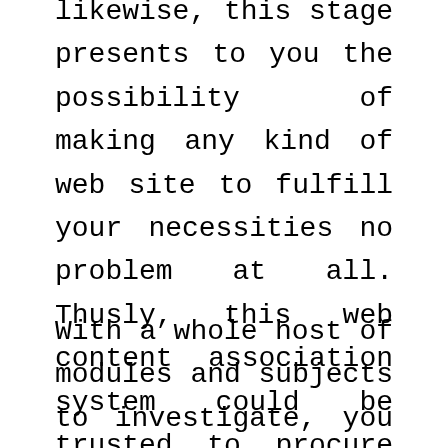likewise, this stage presents to you the possibility of making any kind of web site to fulfill your necessities no problem at all. Thusly, this web content association system could be trusted to procure exchange, enlistment, blog site dispersing site page, and so forth no issue by any stretch of the imagination.
With a whole host of modules and subjects to investigate, you can improve the display of the web site and fulfill your objectives in a straightforward way. Additionally, it is a SEO-pleasing stage which infers your advancement costs will irrefutably be